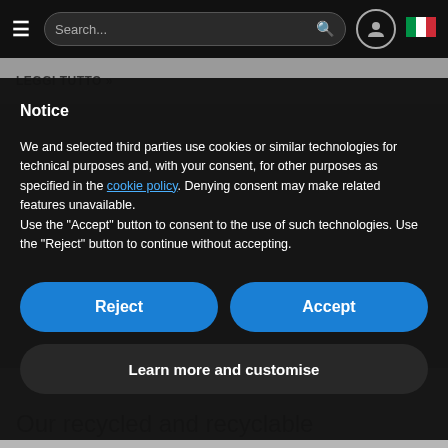Search... [navigation bar with hamburger menu, search box, user icon, Italian flag]
LEGGI TUTTO »
Notice
We and selected third parties use cookies or similar technologies for technical purposes and, with your consent, for other purposes as specified in the cookie policy. Denying consent may make related features unavailable.
Use the "Accept" button to consent to the use of such technologies. Use the "Reject" button to continue without accepting.
Reject
Accept
Learn more and customise
Our recycled and recyclable